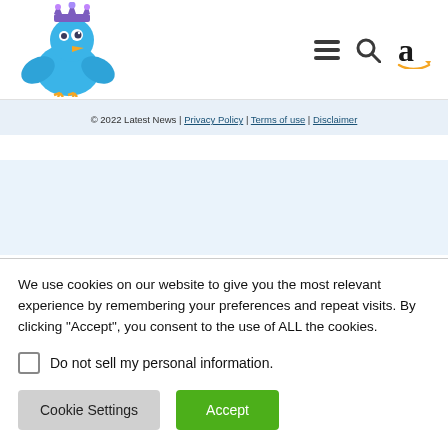[Figure (logo): Blue cartoon bird with a crown, wings spread, website mascot logo in top-left header area]
[Figure (illustration): Navigation icons: hamburger menu (three horizontal lines), search magnifying glass, Amazon 'a' logo - in top-right header area]
© 2022 Latest News | Privacy Policy | Terms of use | Disclaimer
This Page or Post is having external links or affiliate
We use cookies on our website to give you the most relevant experience by remembering your preferences and repeat visits. By clicking "Accept", you consent to the use of ALL the cookies.
Do not sell my personal information.